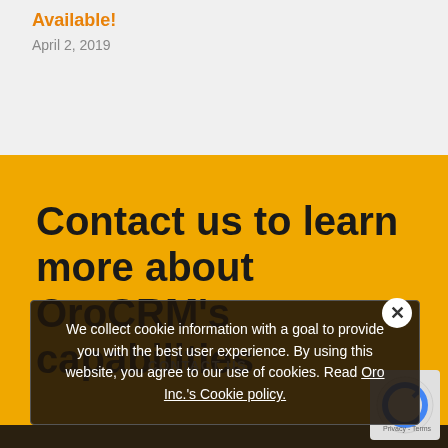Available!
April 2, 2019
Contact us to learn more about OroCRM's capabilities
CONTACT US
We collect cookie information with a goal to provide you with the best user experience. By using this website, you agree to our use of cookies. Read Oro Inc.'s Cookie policy.